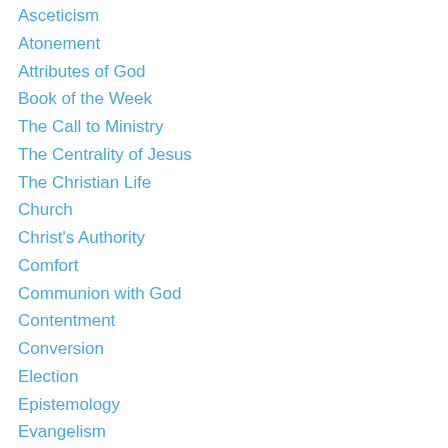Asceticism
Atonement
Attributes of God
Book of the Week
The Call to Ministry
The Centrality of Jesus
The Christian Life
Church
Christ's Authority
Comfort
Communion with God
Contentment
Conversion
Election
Epistemology
Evangelism
Godliness
God's Faithfulness
God's Glory
God's Love